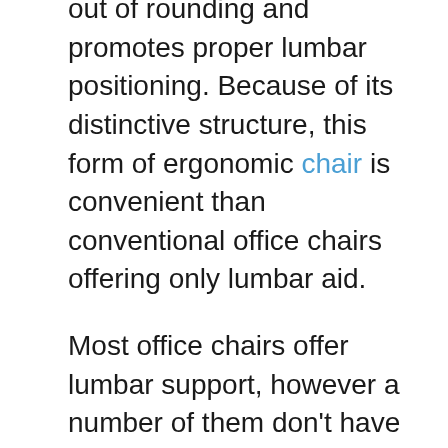out of rounding and promotes proper lumbar positioning. Because of its distinctive structure, this form of ergonomic chair is convenient than conventional office chairs offering only lumbar aid.
Most office chairs offer lumbar support, however a number of them don't have enough curvature or flexibility to extend a proper fit. As there are many unique types of office chairs, you want to take a few measurements prior to purchasing one. The very first measurement should really be about three inches above the hips. For the second dimension, only slightly below the buttocks is optimal, and for the next, put your palms under the lower back at a better view.